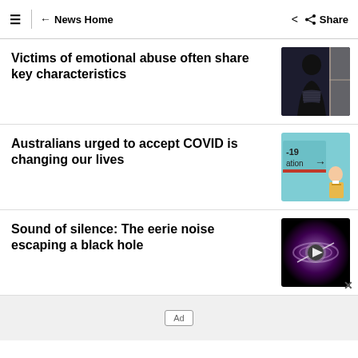≡  ← News Home   Share
Victims of emotional abuse often share key characteristics
[Figure (photo): Person seen from behind, seated near a window, dark clothing]
Australians urged to accept COVID is changing our lives
[Figure (photo): COVID-19 sign with arrow pointing right, person in uniform visible]
Sound of silence: The eerie noise escaping a black hole
[Figure (photo): Purple and pink swirling black hole with play button overlay]
Ad